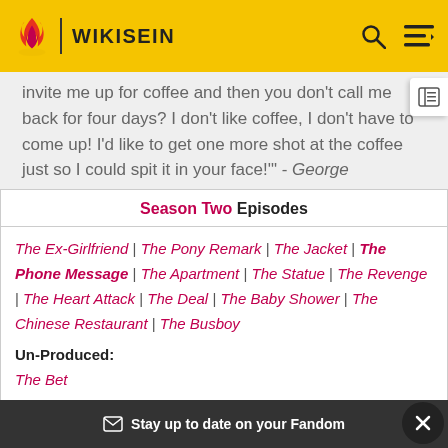WIKISEIN
...where the hell do you get the nerve? You invite me up for coffee and then you don't call me back for four days? I don't like coffee, I don't have to come up! I'd like to get one more shot at the coffee just so I could spit it in your face!" - George
| Season Two Episodes |
| --- |
| The Ex-Girlfriend | The Pony Remark | The Jacket | The Phone Message | The Apartment | The Statue | The Revenge | The Heart Attack | The Deal | The Baby Shower | The Chinese Restaurant | The Busboy |
| Un-Produced: The Bet |
Stay up to date on your Fandom